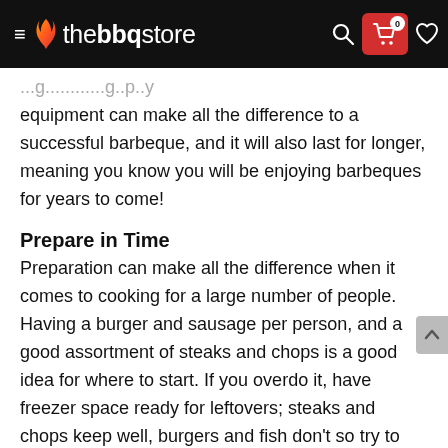thebbqstore
equipment can make all the difference to a successful barbeque, and it will also last for longer, meaning you know you will be enjoying barbeques for years to come!
Prepare in Time
Preparation can make all the difference when it comes to cooking for a large number of people. Having a burger and sausage per person, and a good assortment of steaks and chops is a good idea for where to start. If you overdo it, have freezer space ready for leftovers; steaks and chops keep well, burgers and fish don't so try to use them up. Once you have the meat, it needs marinating for some